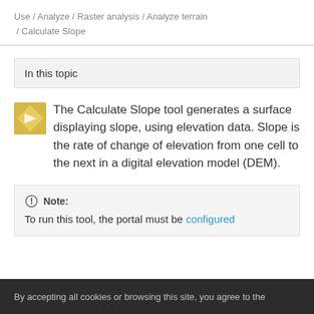Use / Analyze / Raster analysis / Analyze terrain / Calculate Slope
In this topic
[Figure (illustration): Yellow/gold diamond-shaped tool icon for Calculate Slope]
The Calculate Slope tool generates a surface displaying slope, using elevation data. Slope is the rate of change of elevation from one cell to the next in a digital elevation model (DEM).
Note: To run this tool, the portal must be configured
By accepting all cookies or browsing this site, you agree to the